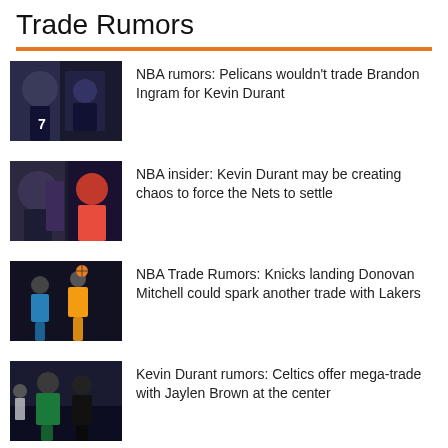Trade Rumors
NBA rumors: Pelicans wouldn't trade Brandon Ingram for Kevin Durant
NBA insider: Kevin Durant may be creating chaos to force the Nets to settle
NBA Trade Rumors: Knicks landing Donovan Mitchell could spark another trade with Lakers
Kevin Durant rumors: Celtics offer mega-trade with Jaylen Brown at the center